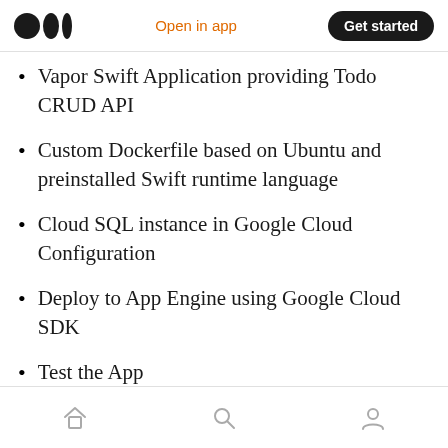Medium logo | Open in app | Get started
Vapor Swift Application providing Todo CRUD API
Custom Dockerfile based on Ubuntu and preinstalled Swift runtime language
Cloud SQL instance in Google Cloud Configuration
Deploy to App Engine using Google Cloud SDK
Test the App
Monitor Application Log in Stackdriver
Home | Search | Profile